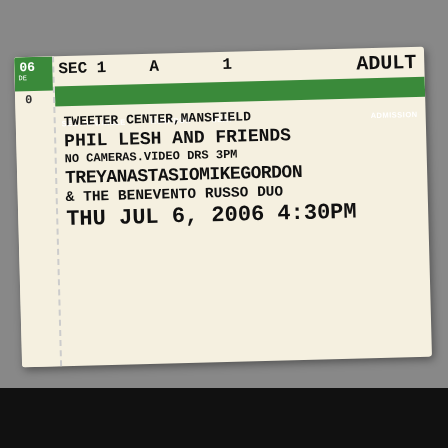[Figure (other): Concert ticket stub showing section, row, seat and admission type in green header band. Ticket for Phil Lesh and Friends at Tweeter Center, Mansfield, with Trey Anastasio Mike Gordon & The Benevento Russo Duo, THU JUL 6, 2006 4:30PM, Section 1, Row/Box A, Seat 1, Adult Admission.]